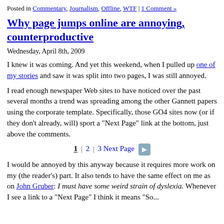Posted in Commentary, Journalism, Offline, WTF | 1 Comment »
Why page jumps online are annoying, counterproductive
Wednesday, April 8th, 2009
I knew it was coming. And yet this weekend, when I pulled up one of my stories and saw it was split into two pages, I was still annoyed.
I read enough newspaper Web sites to have noticed over the past several months a trend was spreading among the other Gannett papers using the corporate template. Specifically, those GO4 sites now (or if they don’t already, will) sport a “Next Page” link at the bottom, just above the comments.
[Figure (other): Pagination control showing: 1 | 2 | 3 Next Page with a right-arrow button]
I would be annoyed by this anyway because it requires more work on my (the reader’s) part. It also tends to have the same effect on me as on John Gruber: I must have some weird strain of dyslexia. Whenever I see a link to a “Next Page” I think it means “So...